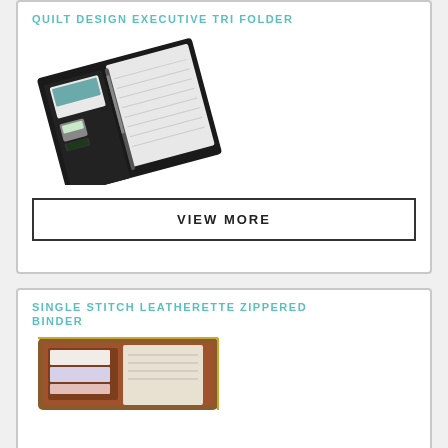QUILT DESIGN EXECUTIVE TRI FOLDER
[Figure (photo): Photo of a black executive tri-fold portfolio/folder with notepad, pen holder, calculator and card slots, shown open at an angle]
VIEW MORE
SINGLE STITCH LEATHERETTE ZIPPERED BINDER
[Figure (photo): Photo of a brown leatherette zippered binder shown partially, open at the bottom of the card]